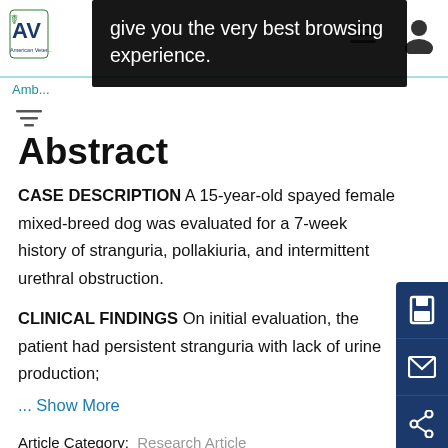AVMA logo navigation bar with tooltip: give you the very best browsing experience.
give you the very best browsing experience.
Amb...
Abstract
CASE DESCRIPTION A 15-year-old spayed female mixed-breed dog was evaluated for a 7-week history of stranguria, pollakiuria, and intermittent urethral obstruction.
CLINICAL FINDINGS On initial evaluation, the patient had persistent stranguria with lack of urine production;
... Show More
Article Category:  Research Article
in Journal of the American Veterinary Medical